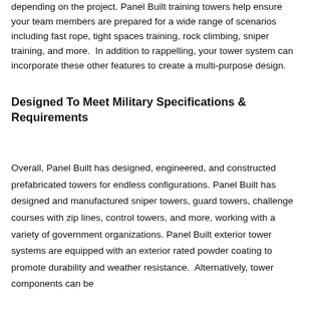depending on the project. Panel Built training towers help ensure your team members are prepared for a wide range of scenarios including fast rope, tight spaces training, rock climbing, sniper training, and more.  In addition to rappelling, your tower system can incorporate these other features to create a multi-purpose design.
Designed To Meet Military Specifications & Requirements
Overall, Panel Built has designed, engineered, and constructed prefabricated towers for endless configurations. Panel Built has designed and manufactured sniper towers, guard towers, challenge courses with zip lines, control towers, and more, working with a variety of government organizations. Panel Built exterior tower systems are equipped with an exterior rated powder coating to promote durability and weather resistance.  Alternatively, tower components can be